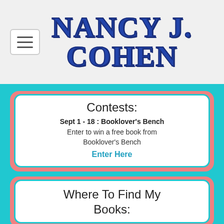[Figure (logo): Nancy J. Cohen website logo in bold blue serif uppercase letters with dark outline/shadow]
Contests:
Sept 1 - 18 : Booklover's Bench
Enter to win a free book from Booklover's Bench
Enter Here
Where To Find My Books: